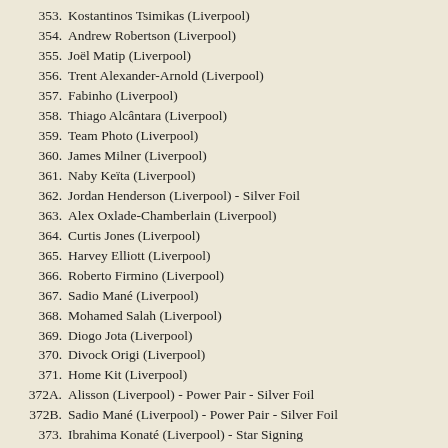353.  Kostantinos Tsimikas (Liverpool)
354.  Andrew Robertson (Liverpool)
355.  Joël Matip (Liverpool)
356.  Trent Alexander-Arnold (Liverpool)
357.  Fabinho (Liverpool)
358.  Thiago Alcântara (Liverpool)
359.  Team Photo (Liverpool)
360.  James Milner (Liverpool)
361.  Naby Keïta (Liverpool)
362.  Jordan Henderson (Liverpool) - Silver Foil
363.  Alex Oxlade-Chamberlain (Liverpool)
364.  Curtis Jones (Liverpool)
365.  Harvey Elliott (Liverpool)
366.  Roberto Firmino (Liverpool)
367.  Sadio Mané (Liverpool)
368.  Mohamed Salah (Liverpool)
369.  Diogo Jota (Liverpool)
370.  Divock Origi (Liverpool)
371.  Home Kit (Liverpool)
372A.  Alisson (Liverpool) - Power Pair - Silver Foil
372B.  Sadio Mané (Liverpool) - Power Pair - Silver Foil
373.  Ibrahima Konaté (Liverpool) - Star Signing